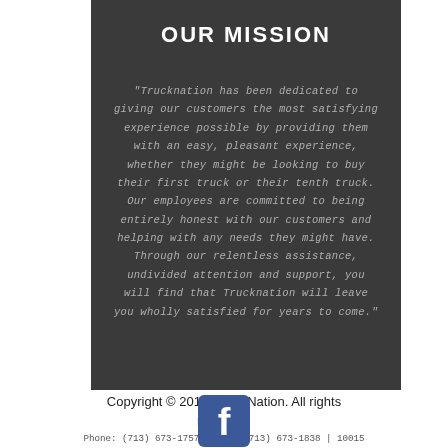OUR MISSION
"Trucknation has been dedicated to giving our customers the most satisfying experience possible by providing them with an easy, pleasant experience, whether they might be looking to buy their first truck or their tenth truck. Our employees are committed to being entirely honest with our customers and helping with any needs they might have. Through our relentless assistance, undivided attention and support, you will find that Trucknation will leave you wholly satisfied for years to come."
Copyright © 2019 Truck Nation. All rights reserved.
Phone: (713) 673-1757 | Fax: (713) 673-1838 | 10015 North Loop East, Houston, TX 77029
[Figure (logo): Facebook logo icon - blue square with white lowercase f]